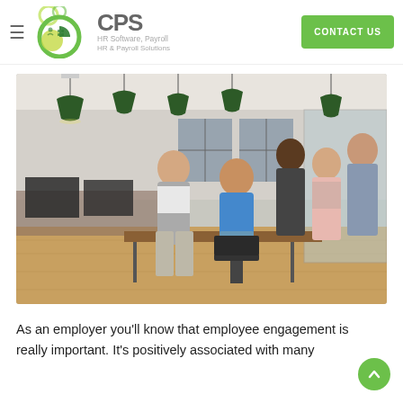CPS — HR Software, Payroll — HR & Payroll Solutions — CONTACT US
[Figure (photo): Five diverse business professionals posing together in a modern open-plan office with green pendant lights, wooden floors, and glass partition walls. One woman is seated in an office chair, the others are standing around her.]
As an employer you'll know that employee engagement is really important. It's positively associated with many